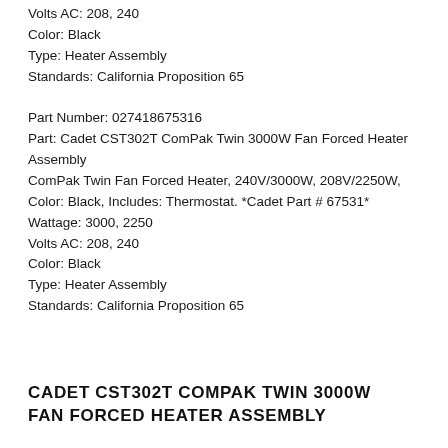Wattage: 3000, 2250
Volts AC: 208, 240
Color: Black
Type: Heater Assembly
Standards: California Proposition 65
Part Number: 027418675316
Part: Cadet CST302T ComPak Twin 3000W Fan Forced Heater Assembly
ComPak Twin Fan Forced Heater, 240V/3000W, 208V/2250W, Color: Black, Includes: Thermostat. *Cadet Part # 67531*
Wattage: 3000, 2250
Volts AC: 208, 240
Color: Black
Type: Heater Assembly
Standards: California Proposition 65
CADET CST302T COMPAK TWIN 3000W FAN FORCED HEATER ASSEMBLY